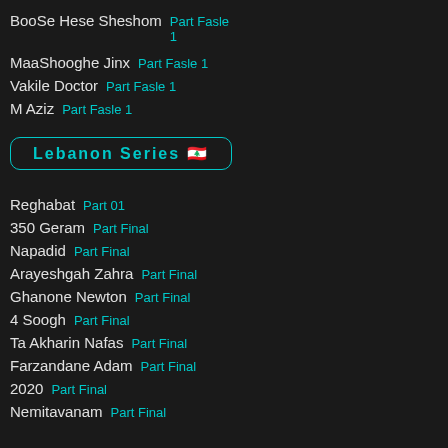BooSe Hese Sheshom  Part Fasle 1
MaaShooghe Jinx  Part Fasle 1
Vakile Doctor  Part Fasle 1
M Aziz  Part Fasle 1
Lebanon Series 🇱🇧
Reghabat  Part 01
350 Geram  Part Final
Napadid  Part Final
Arayeshgah Zahra  Part Final
Ghanone Newton  Part Final
4 Soogh  Part Final
Ta Akharin Nafas  Part Final
Farzandane Adam  Part Final
2020  Part Final
Nemitavanam  Part Final